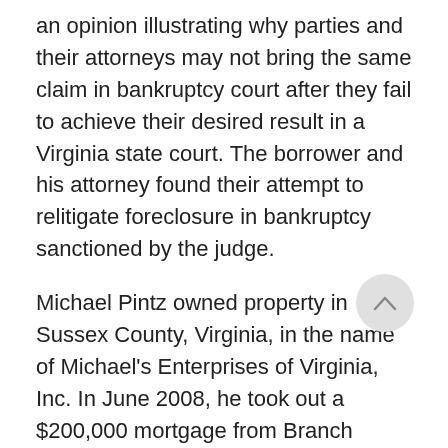an opinion illustrating why parties and their attorneys may not bring the same claim in bankruptcy court after they fail to achieve their desired result in a Virginia state court. The borrower and his attorney found their attempt to relitigate foreclosure in bankruptcy sanctioned by the judge.
Michael Pintz owned property in Sussex County, Virginia, in the name of Michael's Enterprises of Virginia, Inc. In June 2008, he took out a $200,000 mortgage from Branch Banking & Trust. After he defaulted on payment, BB&T obtained a money judgment in Hanover Circuit Court. When BB&T sent Michael's Enterprises a Notice of Foreclosure, he filed a request in Sussex Circuit Court to block the threatened sale. That court denied the motion. BB&T later purchased the property at a November 2013 Trustee's Sale. In February 2014, Michael's Enterprises